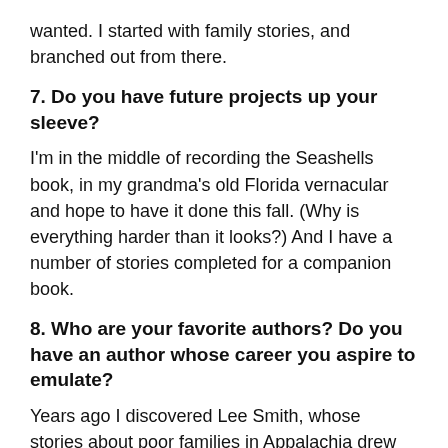wanted. I started with family stories, and branched out from there.
7. Do you have future projects up your sleeve?
I'm in the middle of recording the Seashells book, in my grandma's old Florida vernacular and hope to have it done this fall. (Why is everything harder than it looks?) And I have a number of stories completed for a companion book.
8. Who are your favorite authors? Do you have an author whose career you aspire to emulate?
Years ago I discovered Lee Smith, whose stories about poor families in Appalachia drew me in. While I haven't intentionally used her as a model, she has unquestionably had an influence on my work.